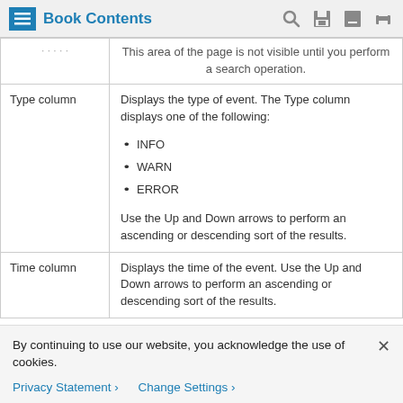Book Contents
| Column | Description |
| --- | --- |
| (truncated) | This area of the page is not visible until you perform a search operation. |
| Type column | Displays the type of event. The Type column displays one of the following:
• INFO
• WARN
• ERROR
Use the Up and Down arrows to perform an ascending or descending sort of the results. |
| Time column | Displays the time of the event. Use the Up and Down arrows to perform an ascending or descending sort of the results. |
By continuing to use our website, you acknowledge the use of cookies.
Privacy Statement >   Change Settings >